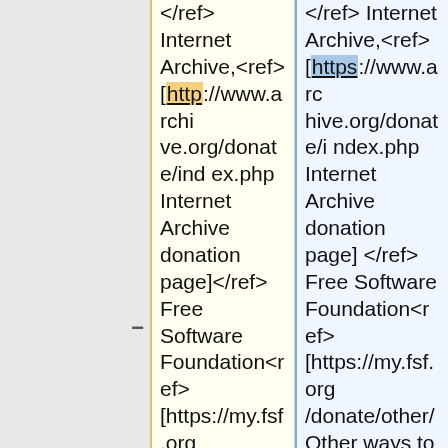</ref> Internet Archive,<ref>[http://www.archive.org/donate/index.php Internet Archive donation page]</ref> Free Software Foundation<ref>[https://my.fsf.org/donate/other/ Other ways to donate]</ref> and others, began to accept donations in Bitcoin. The Electronic Frontier Foundation did so for a while but has since stopped, citing
</ref> Internet Archive,<ref>[https://www.archive.org/donate/index.php Internet Archive donation page]</ref> Free Software Foundation<ref>[https://my.fsf.org/donate/other/ Other ways to donate]</ref> and others, began [[Receiving_donations_with_bitcoin|to accept donations in bitcoins]]. The Electronic Frontier